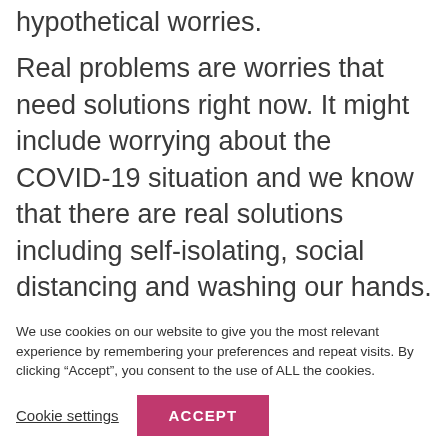hypothetical worries.
Real problems are worries that need solutions right now. It might include worrying about the COVID-19 situation and we know that there are real solutions including self-isolating, social distancing and washing our hands.
Hypothetical worries often include
We use cookies on our website to give you the most relevant experience by remembering your preferences and repeat visits. By clicking “Accept”, you consent to the use of ALL the cookies.
Cookie settings
ACCEPT